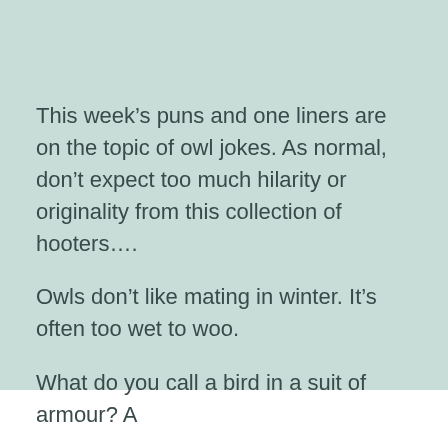This week’s puns and one liners are on the topic of owl jokes. As normal, don’t expect too much hilarity or originality from this collection of hooters….
Owls don’t like mating in winter. It’s often too wet to woo.
What do you call a bird in a suit of armour? A